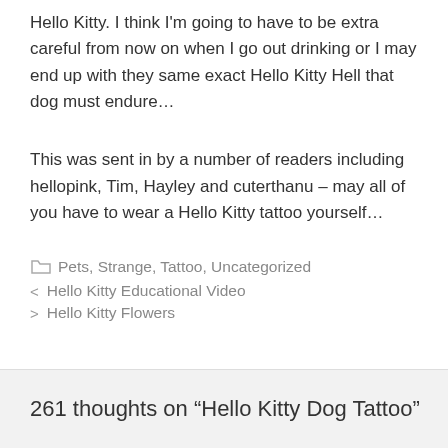Hello Kitty. I think I'm going to have to be extra careful from now on when I go out drinking or I may end up with they same exact Hello Kitty Hell that dog must endure…
This was sent in by a number of readers including hellopink, Tim, Hayley and cuterthanu – may all of you have to wear a Hello Kitty tattoo yourself…
Pets, Strange, Tattoo, Uncategorized
Hello Kitty Educational Video
Hello Kitty Flowers
261 thoughts on “Hello Kitty Dog Tattoo”